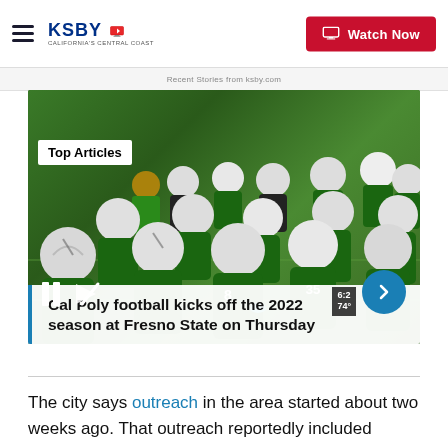KSBY California's Central Coast | Watch Now
Recent Stories from ksby.com
[Figure (photo): Cal Poly football players in white helmets and green jerseys gathered on the field during practice or pregame warmup, with a coach visible in the background. A 'Top Articles' badge appears in the upper left. Video player controls including pause and mute icons are visible at the bottom left, and a blue arrow navigation button at bottom right. A score bug shows 74 in the lower right area.]
Cal Poly football kicks off the 2022 season at Fresno State on Thursday
The city says outreach in the area started about two weeks ago. That outreach reportedly included shelter